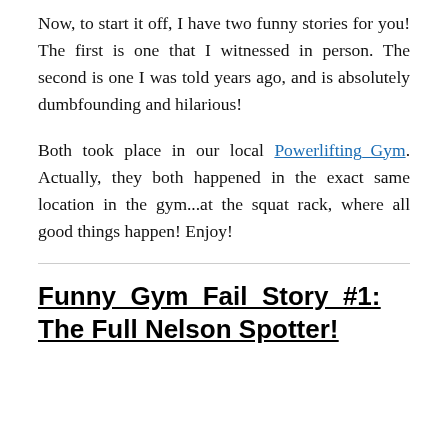Now, to start it off, I have two funny stories for you! The first is one that I witnessed in person. The second is one I was told years ago, and is absolutely dumbfounding and hilarious!
Both took place in our local Powerlifting Gym. Actually, they both happened in the exact same location in the gym...at the squat rack, where all good things happen! Enjoy!
Funny Gym Fail Story #1: The Full Nelson Spotter!